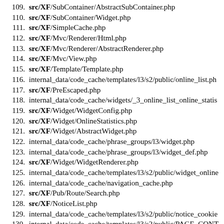109. src/XF/SubContainer/AbstractSubContainer.php
110. src/XF/SubContainer/Widget.php
111. src/XF/SimpleCache.php
112. src/XF/Mvc/Renderer/Html.php
113. src/XF/Mvc/Renderer/AbstractRenderer.php
114. src/XF/Mvc/View.php
115. src/XF/Template/Template.php
116. internal_data/code_cache/templates/l3/s2/public/online_list.ph
117. src/XF/PreEscaped.php
118. internal_data/code_cache/widgets/_3_online_list_online_statis
119. src/XF/Widget/WidgetConfig.php
120. src/XF/Widget/OnlineStatistics.php
121. src/XF/Widget/AbstractWidget.php
122. internal_data/code_cache/phrase_groups/l3/widget.php
123. internal_data/code_cache/phrase_groups/l3/widget_def.php
124. src/XF/Widget/WidgetRenderer.php
125. internal_data/code_cache/templates/l3/s2/public/widget_online
126. internal_data/code_cache/navigation_cache.php
127. src/XF/Pub/Route/Search.php
128. src/XF/NoticeList.php
129. internal_data/code_cache/templates/l3/s2/public/notice_cookie
130. internal_data/code_cache/templates/l3/s2/public/PAGE_CONT
131. internal_data/code_cache/templates/l3/s2/public/metadata_ma
132. internal_data/code_cache/templates/l3/s2/public/helper_js_glo
133. internal_data/code_cache/templates/l3/s2/public/font_awesom